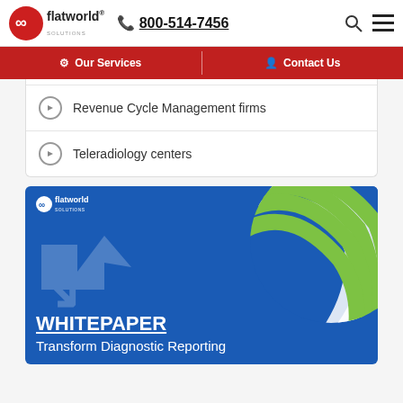flatworld solutions 800-514-7456
Our Services | Contact Us
Revenue Cycle Management firms
Teleradiology centers
[Figure (illustration): Flatworld Solutions whitepaper banner with blue background, green and white globe graphic, and text: WHITEPAPER - Transform Diagnostic Reporting]